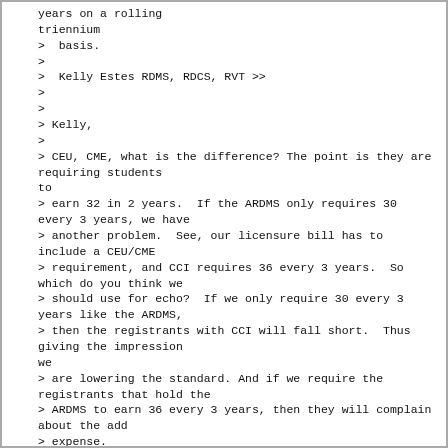years on a rolling
triennium
>  basis.
>
>  Kelly Estes RDMS, RDCS, RVT >>
>
>
> Kelly,
>
> CEU, CME, what is the difference? The point is they are requiring students
to
> earn 32 in 2 years.  If the ARDMS only requires 30 every 3 years, we have
> another problem.  See, our licensure bill has to include a CEU/CME
> requirement, and CCI requires 36 every 3 years.  So which do you think we
> should use for echo?  If we only require 30 every 3 years like the ARDMS,
> then the registrants with CCI will fall short.  Thus giving the impression
we
> are lowering the standard. And if we require the registrants that hold the
> ARDMS to earn 36 every 3 years, then they will complain about the add
> expense.
>
> What shall we do?
> Tony